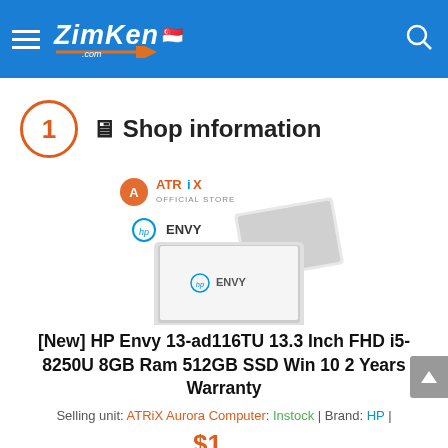ZimKen.com
1  🖥  Shop information
[Figure (photo): ATRIX Official Store logo above HP ENVY laptop product image showing the laptop open and closed]
[New] HP Envy 13-ad116TU 13.3 Inch FHD i5-8250U 8GB Ram 512GB SSD Win 10 2 Years Warranty
Selling unit: ATRiX Aurora Computer: Instock | Brand: HP |